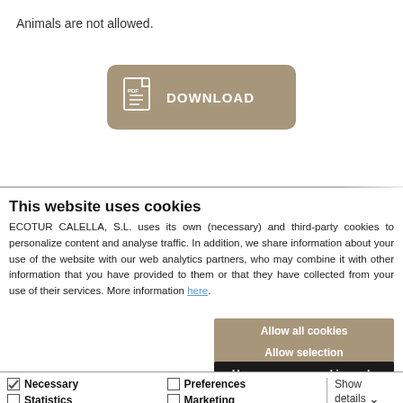Animals are not allowed.
[Figure (other): PDF Download button with file icon and DOWNLOAD label, tan/brown background with rounded corners]
This website uses cookies
ECOTUR CALELLA, S.L. uses its own (necessary) and third-party cookies to personalize content and analyse traffic. In addition, we share information about your use of the website with our web analytics partners, who may combine it with other information that you have provided to them or that they have collected from your use of their services. More information here.
Allow all cookies
Allow selection
Use necessary cookies only
Necessary  Preferences  Statistics  Marketing  Show details